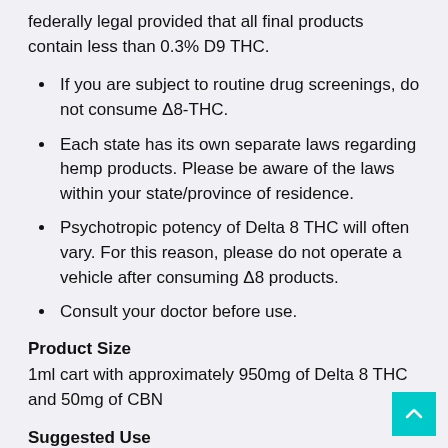federally legal provided that all final products contain less than 0.3% D9 THC.
If you are subject to routine drug screenings, do not consume Δ8-THC.
Each state has its own separate laws regarding hemp products. Please be aware of the laws within your state/province of residence.
Psychotropic potency of Delta 8 THC will often vary. For this reason, please do not operate a vehicle after consuming Δ8 products.
Consult your doctor before use.
Product Size
1ml cart with approximately 950mg of Delta 8 THC and 50mg of CBN
Suggested Use
Twist this vane cartridge onto a compatible 510-thread